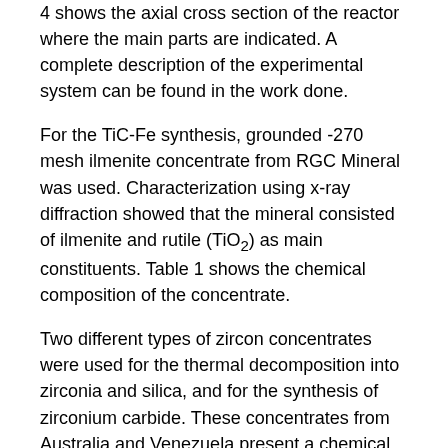4 shows the axial cross section of the reactor where the main parts are indicated. A complete description of the experimental system can be found in the work done.
For the TiC-Fe synthesis, grounded -270 mesh ilmenite concentrate from RGC Mineral was used. Characterization using x-ray diffraction showed that the mineral consisted of ilmenite and rutile (TiO2) as main constituents. Table 1 shows the chemical composition of the concentrate.
Two different types of zircon concentrates were used for the thermal decomposition into zirconia and silica, and for the synthesis of zirconium carbide. These concentrates from Australia and Venezuela present a chemical composition described in Table 2.
Table 1. Chemical characterization of ilmenite (wt. %)